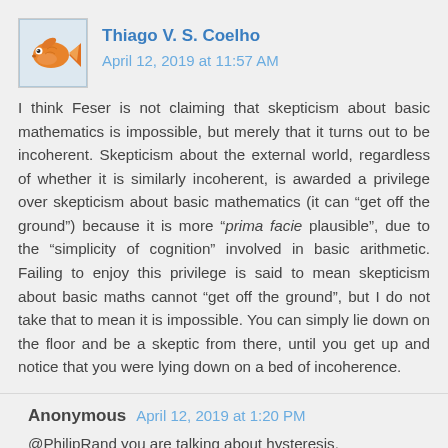Thiago V. S. Coelho  April 12, 2019 at 11:57 AM
I think Feser is not claiming that skepticism about basic mathematics is impossible, but merely that it turns out to be incoherent. Skepticism about the external world, regardless of whether it is similarly incoherent, is awarded a privilege over skepticism about basic mathematics (it can “get off the ground”) because it is more “primafacie plausible”, due to the “simplicity of cognition” involved in basic arithmetic. Failing to enjoy this privilege is said to mean skepticism about basic maths cannot “get off the ground”, but I do not take that to mean it is impossible. You can simply lie down on the floor and be a skeptic from there, until you get up and notice that you were lying down on a bed of incoherence.
Anonymous  April 12, 2019 at 1:20 PM
@PhilipRand you are talking about hysteresis.